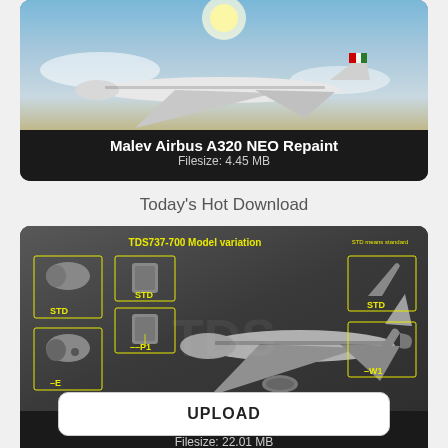[Figure (photo): Malev Airbus A320 NEO aircraft in flight with Malev livery (Hungarian flag tail), blue sky and clouds background]
Malev Airbus A320 NEO Repaint
Filesize: 4.45 MB
Today's Hot Download
[Figure (infographic): FSX TDS Boeing 737-700 model variation diagram showing STD, -E nose variants, STD and -P1 engine variants, and STD, -W1, -W3 winglet variants with an aircraft 3D render in the center]
FSX TDS Boeing 737-700 Base Package V2.0
Filesize: 22.01 MB
UPLOAD